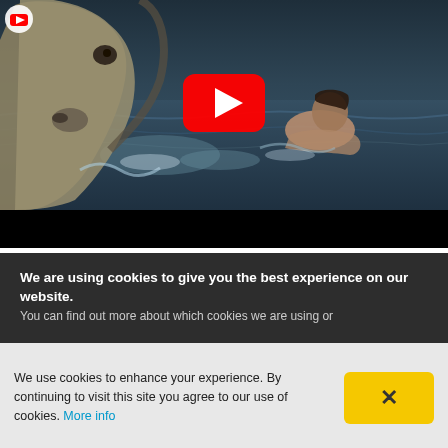[Figure (screenshot): YouTube video thumbnail showing a horse and a person swimming in ocean water, with a red YouTube play button overlay in the center and a YouTube logo icon in the top-left corner. A black bar appears at the bottom of the video player.]
We are using cookies to give you the best experience on our website.
You can find out more about which cookies we are using or
We use cookies to enhance your experience. By continuing to visit this site you agree to our use of cookies. More info